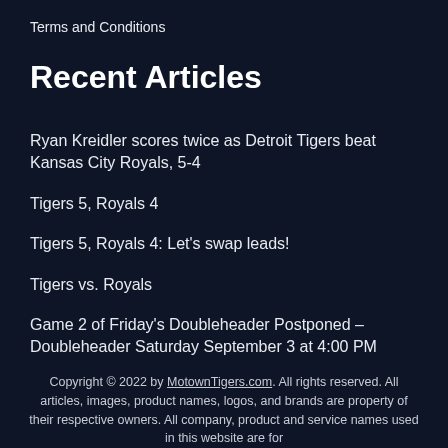Terms and Conditions
Recent Articles
Ryan Kreidler scores twice as Detroit Tigers beat Kansas City Royals, 5-4
Tigers 5, Royals 4
Tigers 5, Royals 4: Let’s swap leads!
Tigers vs. Royals
Game 2 of Friday’s Doubleheader Postponed – Doubleheader Saturday September 3 at 4:00 PM
Copyright © 2022 by MotownTigers.com. All rights reserved. All articles, images, product names, logos, and brands are property of their respective owners. All company, product and service names used in this website are for